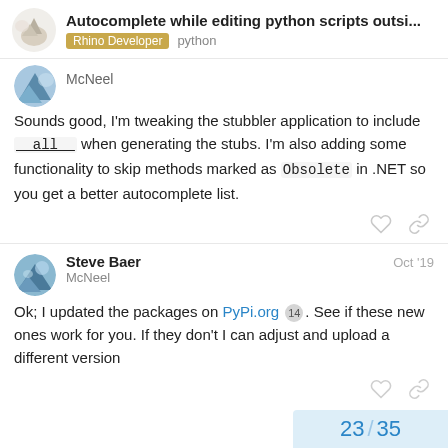Autocomplete while editing python scripts outsi... | Rhino Developer  python
McNeel
Sounds good, I'm tweaking the stubbler application to include __all__ when generating the stubs. I'm also adding some functionality to skip methods marked as Obsolete in .NET so you get a better autocomplete list.
Steve Baer
McNeel
Oct '19
Ok; I updated the packages on PyPi.org 14 . See if these new ones work for you. If they don't I can adjust and upload a different version
23 / 35